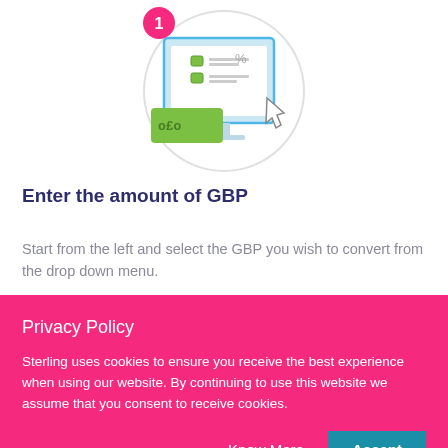[Figure (illustration): Step 1 illustration: a computer monitor showing a form with green checkboxes and a percentage symbol, with a green banknote showing pound sign (o£o) and a cursor arrow. A pink circle with the number 1 is at the top left of the illustration, all inside a circular border.]
Enter the amount of GBP
Start from the left and select the GBP you wish to convert from the drop down menu.
Privacy Policy
Sterling uses cookies to ensure you receive the best experience when using our website. By continuing to use this website we assume that you consent to receive cookies.